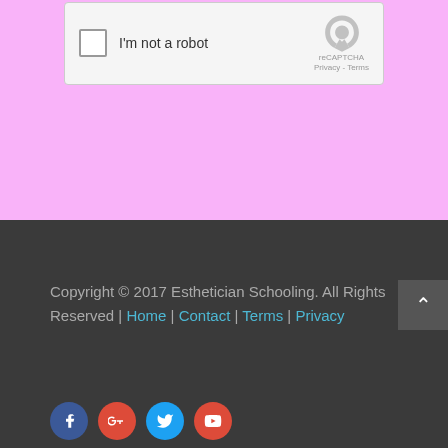[Figure (screenshot): reCAPTCHA checkbox widget with 'I'm not a robot' text and reCAPTCHA logo, Privacy and Terms links]
SUBMIT
Copyright © 2017 Esthetician Schooling. All Rights Reserved | Home | Contact | Terms | Privacy
[Figure (illustration): Social media icons: Facebook (blue), Google+ (red), Twitter (light blue), YouTube (red) — circular icons at bottom of footer]